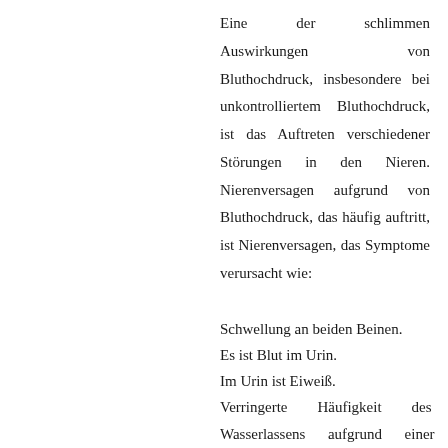Eine der schlimmen Auswirkungen von Bluthochdruck, insbesondere bei unkontrolliertem Bluthochdruck, ist das Auftreten verschiedener Störungen in den Nieren. Nierenversagen aufgrund von Bluthochdruck, das häufig auftritt, ist Nierenversagen, das Symptome verursacht wie:
Schwellung an beiden Beinen.
Es ist Blut im Urin.
Im Urin ist Eiweiß.
Verringerte Häufigkeit des Wasserlassens aufgrund einer verringerten Urinproduktion.